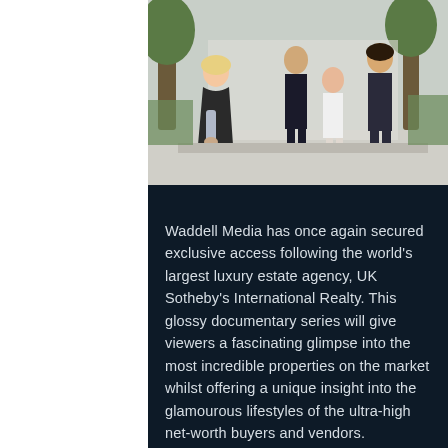[Figure (photo): Group of four people posing outdoors in front of a building with trees in the background. Three women and one man, dressed in fashionable attire.]
Waddell Media has once again secured exclusive access following the world's largest luxury estate agency, UK Sotheby's International Realty. This glossy documentary series will give viewers a fascinating glimpse into the most incredible properties on the market whilst offering a unique insight into the glamourous lifestyles of the ultra-high net-worth buyers and vendors.